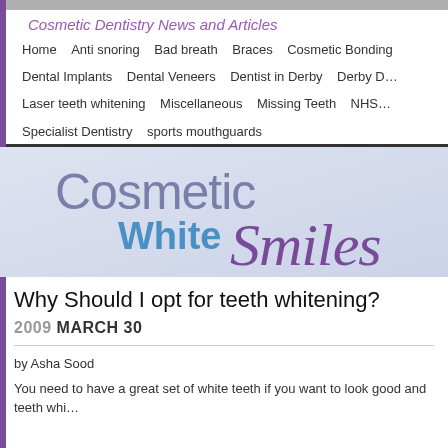Cosmetic Dentistry News and Articles
Home   Anti snoring   Bad breath   Braces   Cosmetic Bonding   Dental Implants   Dental Veneers   Dentist in Derby   Derby D…   Laser teeth whitening   Miscellaneous   Missing Teeth   NHS…   Specialist Dentistry   sports mouthguards
[Figure (logo): Cosmetic White Smiles logo banner with light blue/purple gradient background. Large text reads 'Cosmetic' in grey-purple, 'White' in blue bold, and 'Smiles' in purple italic script.]
Why Should I opt for teeth whitening?
2009 MARCH 30
by Asha Sood
You need to have a great set of white teeth if you want to look good and teeth whi…